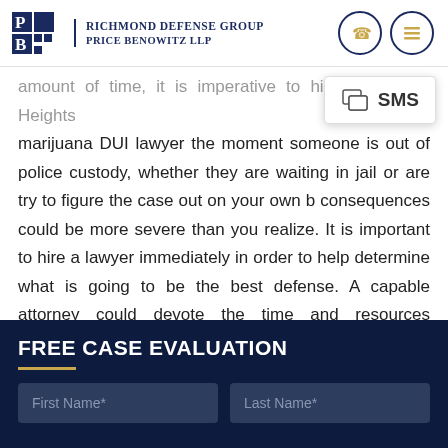Richmond Defense Group Price Benowitz LLP
amount of time, it is imperative to hire a Colonial Heights marijuana DUI lawyer the moment someone is out of police custody, whether they are waiting in jail or are [free]. try to figure the case out on your own b[ecause the] consequences could be more severe than you realize. It is important to hire a lawyer immediately in order to help determine what is going to be the best defense. A capable attorney could devote the time and resources necessary to achieve a positive outcome for you.
[Figure (screenshot): SMS popup overlay on top right of page content]
FREE CASE EVALUATION
First Name*
Last Name*